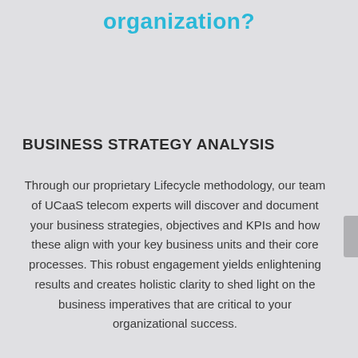organization?
BUSINESS STRATEGY ANALYSIS
Through our proprietary Lifecycle methodology, our team of UCaaS telecom experts will discover and document your business strategies, objectives and KPIs and how these align with your key business units and their core processes. This robust engagement yields enlightening results and creates holistic clarity to shed light on the business imperatives that are critical to your organizational success.